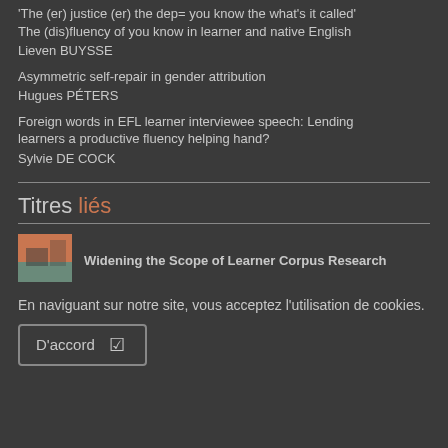'The (er) justice (er) the dep= you know the what's it called'
The (dis)fluency of you know in learner and native English
Lieven BUYSSE
Asymmetric self-repair in gender attribution
Hugues PÉTERS
Foreign words in EFL learner interviewee speech: Lending learners a productive fluency helping hand?
Sylvie DE COCK
Titres liés
[Figure (illustration): Book cover thumbnail for 'Widening the Scope of Learner Corpus Research' showing orange and grey colored cover]
Widening the Scope of Learner Corpus Research
En naviguant sur notre site, vous acceptez l'utilisation de cookies.
D'accord ☑